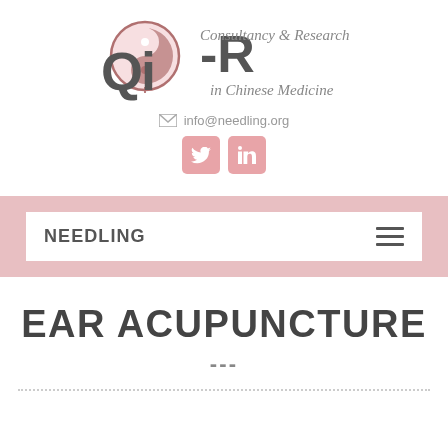[Figure (logo): Qi-R Consultancy & Research in Chinese Medicine logo with circular yin-yang style emblem in pink and grey]
info@needling.org
[Figure (other): Twitter and LinkedIn social media icons in pink]
NEEDLING
EAR ACUPUNCTURE
---